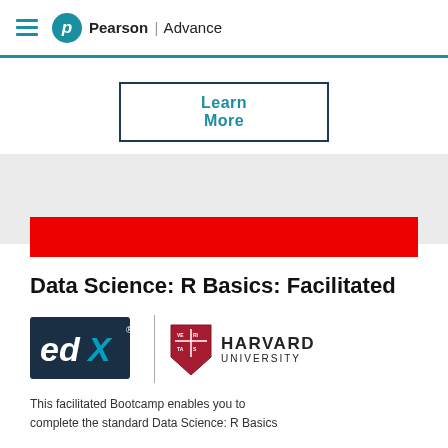Pearson | Advance
Learn More
[Figure (logo): edX logo and Harvard University logo side by side with vertical divider]
Data Science: R Basics: Facilitated
This facilitated Bootcamp enables you to complete the standard Data Science: R Basics